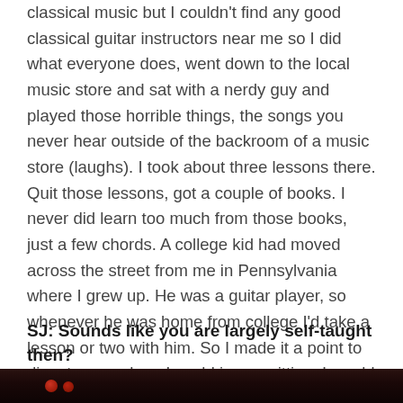classical music but I couldn't find any good classical guitar instructors near me so I did what everyone does, went down to the local music store and sat with a nerdy guy and played those horrible things, the songs you never hear outside of the backroom of a music store (laughs). I took about three lessons there. Quit those lessons, got a couple of books. I never did learn too much from those books, just a few chords. A college kid had moved across the street from me in Pennsylvania where I grew up. He was a guitar player, so whenever he was home from college I'd take a lesson or two with him. So I made it a point to digest as much as I could in one sitting. I would learn pretty much an entire tune in one lesson. Not all the details, but I could get from the beginning to the end and figure out the rest by myself later on.
SJ: Sounds like you are largely self-taught then?
[Figure (photo): Partial photo visible at bottom of page, dark background with reddish tones]